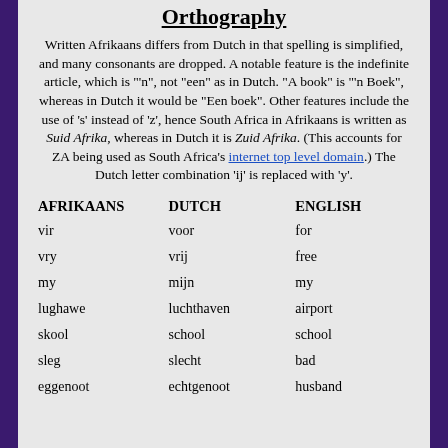Orthography
Written Afrikaans differs from Dutch in that spelling is simplified, and many consonants are dropped. A notable feature is the indefinite article, which is "'n", not "een" as in Dutch. "A book" is "'n Boek", whereas in Dutch it would be "Een boek". Other features include the use of 's' instead of 'z', hence South Africa in Afrikaans is written as Suid Afrika, whereas in Dutch it is Zuid Afrika. (This accounts for ZA being used as South Africa's internet top level domain.) The Dutch letter combination 'ij' is replaced with 'y'.
| AFRIKAANS | DUTCH | ENGLISH |
| --- | --- | --- |
| vir | voor | for |
| vry | vrij | free |
| my | mijn | my |
| lughawe | luchthaven | airport |
| skool | school | school |
| sleg | slecht | bad |
| eggenoot | echtgenoot | husband |